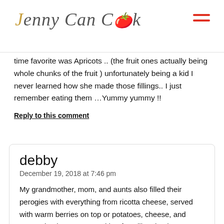Jenny Can Cook
time favorite was Apricots .. (the fruit ones actually being whole chunks of the fruit ) unfortunately being a kid I never learned how she made those fillings.. I just remember eating them …Yummy yummy !!
Reply to this comment
debby
December 19, 2018 at 7:46 pm
My grandmother, mom, and aunts also filled their perogies with everything from ricotta cheese, served with warm berries on top or potatoes, cheese, and sauteed onions, or ground beef. I still make them. Sometimes for a more delicate dish, I'll use wonton wraps.
Reply to this comment